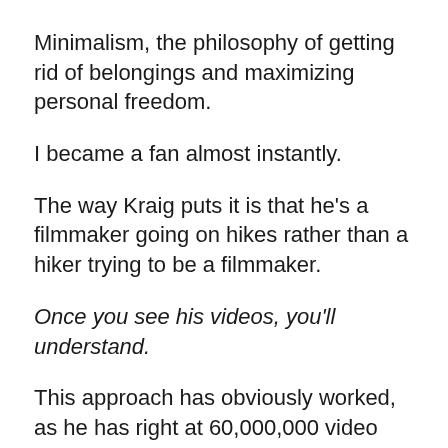Minimalism, the philosophy of getting rid of belongings and maximizing personal freedom.
I became a fan almost instantly.
The way Kraig puts it is that he's a filmmaker going on hikes rather than a hiker trying to be a filmmaker.
Once you see his videos, you'll understand.
This approach has obviously worked, as he has right at 60,000,000 video views, 565,000 subscribers to his videos, and is able to make a great living doing something that he loves.